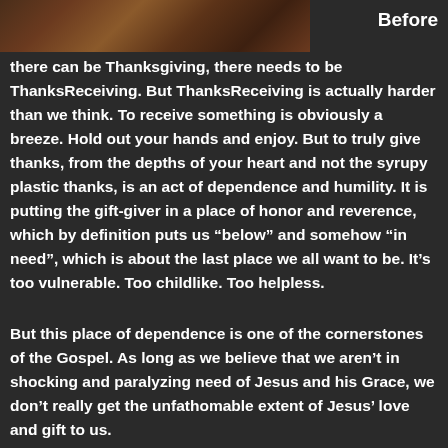[Figure (photo): A dark brownish-red textured background photo, likely of woven or dried natural material, occupying the top-left portion of the page.]
Before there can be Thanksgiving, there needs to be ThanksReceiving. But ThanksReceiving is actually harder than we think. To receive something is obviously a breeze. Hold out your hands and enjoy. But to truly give thanks, from the depths of your heart and not the syrupy plastic thanks, is an act of dependence and humility. It is putting the gift-giver in a place of honor and reverence, which by definition puts us “below” and somehow “in need”, which is about the last place we all want to be. It’s too vulnerable. Too childlike. Too helpless.
But this place of dependence is one of the cornerstones of the Gospel. As long as we believe that we aren’t in shocking and paralyzing need of Jesus and his Grace, we don’t really get the unfathomable extent of Jesus’ love and gift to us.